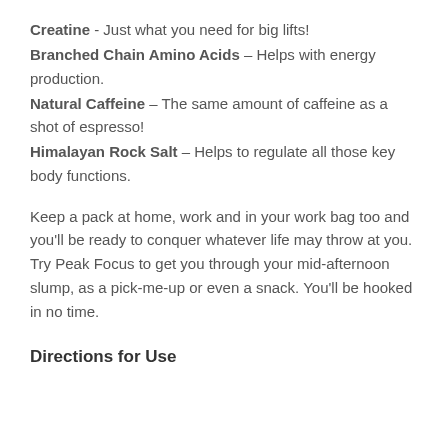Creatine - Just what you need for big lifts!
Branched Chain Amino Acids – Helps with energy production.
Natural Caffeine – The same amount of caffeine as a shot of espresso!
Himalayan Rock Salt – Helps to regulate all those key body functions.
Keep a pack at home, work and in your work bag too and you'll be ready to conquer whatever life may throw at you. Try Peak Focus to get you through your mid-afternoon slump, as a pick-me-up or even a snack. You'll be hooked in no time.
Directions for Use